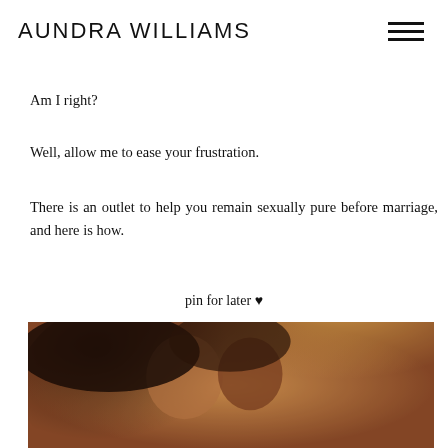AUNDRA WILLIAMS
Am I right?
Well, allow me to ease your frustration.
There is an outlet to help you remain sexually pure before marriage, and here is how.
pin for later ♥
[Figure (photo): A couple in an intimate close moment, man and woman with faces close together, warm golden light, romantic outdoor setting]